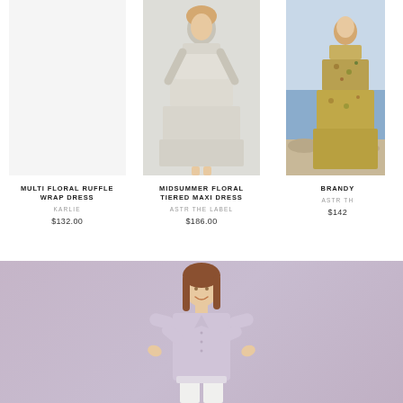[Figure (photo): Product card: Multi Floral Ruffle Wrap Dress by Karlie, $132.00]
MULTI FLORAL RUFFLE WRAP DRESS
KARLIE
$132.00
[Figure (photo): Product card: Midsummer Floral Tiered Maxi Dress by ASTR The Label, $186.00 — model wearing a white tiered maxi dress]
MIDSUMMER FLORAL TIERED MAXI DRESS
ASTR THE LABEL
$186.00
[Figure (photo): Partially visible product card: Brandy [name cut off] by ASTR TH[e Label cut off], $142[cut off] — model in floral dress at beach]
BRANDY
ASTR TH
$142
[Figure (photo): Bottom banner with lavender/mauve background showing a woman in a light purple button-up shirt and white pants]